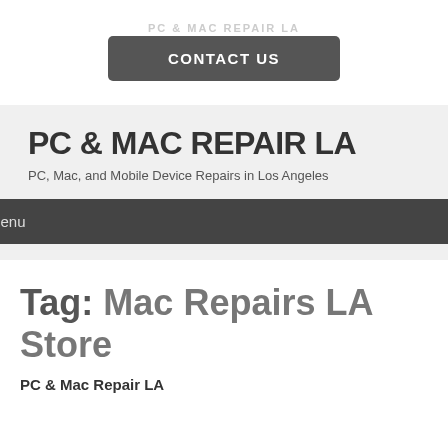PC & MAC REPAIR LA
CONTACT US
PC & MAC REPAIR LA
PC, Mac, and Mobile Device Repairs in Los Angeles
Menu
Tag: Mac Repairs LA Store
PC & Mac Repair LA